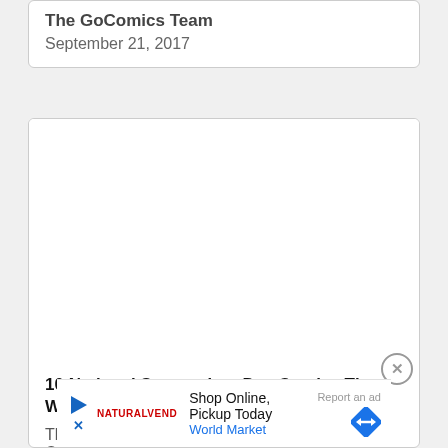The GoComics Team
September 21, 2017
[Figure (other): Empty white image placeholder area inside a card]
10 National Suspenders Day Comics That Will Keep Your Laughs Up
The
Oct
Shop Online, Pickup Today
World Market
Report an ad